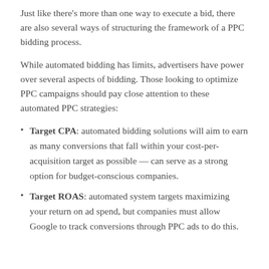Just like there's more than one way to execute a bid, there are also several ways of structuring the framework of a PPC bidding process.
While automated bidding has limits, advertisers have power over several aspects of bidding. Those looking to optimize PPC campaigns should pay close attention to these automated PPC strategies:
Target CPA: automated bidding solutions will aim to earn as many conversions that fall within your cost-per-acquisition target as possible — can serve as a strong option for budget-conscious companies.
Target ROAS: automated system targets maximizing your return on ad spend, but companies must allow Google to track conversions through PPC ads to do this.